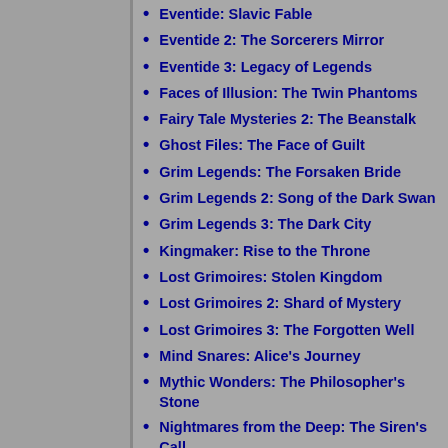Eventide: Slavic Fable
Eventide 2: The Sorcerers Mirror
Eventide 3: Legacy of Legends
Faces of Illusion: The Twin Phantoms
Fairy Tale Mysteries 2: The Beanstalk
Ghost Files: The Face of Guilt
Grim Legends: The Forsaken Bride
Grim Legends 2: Song of the Dark Swan
Grim Legends 3: The Dark City
Kingmaker: Rise to the Throne
Lost Grimoires: Stolen Kingdom
Lost Grimoires 2: Shard of Mystery
Lost Grimoires 3: The Forgotten Well
Mind Snares: Alice's Journey
Mythic Wonders: The Philosopher's Stone
Nightmares from the Deep: The Siren's Call
Nightmares from the Deep: The Cursed Heart
Noir Chronicles: City of Crime
Path of Sin: Greed
Persian Nights: Sands of Wonders
Princess Isabella: The Rise of an Heir
Queen's Quest: Tower of Darkness
Queen's Quest 2: Stories of Forgotten Past
Queen's Quest 3: The End of Dawn
Queen's Quest 4: Sacred Truce
Queen's Quest: Symphony of Death
Scarlett Mysteries: Cursed Child
The Emerald Maiden: Symphony of Dreams
The Secret Order 3: Masked Intent